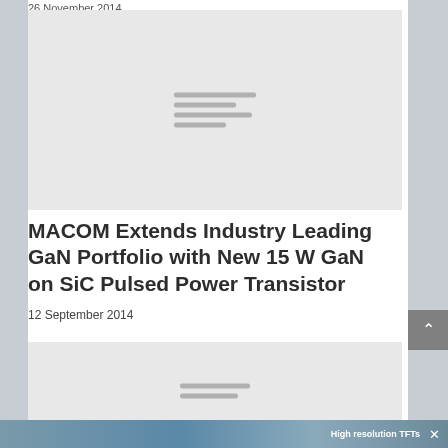26 November 2014
[Figure (photo): Gray placeholder image card for an article]
MACOM Extends Industry Leading GaN Portfolio with New 15 W GaN on SiC Pulsed Power Transistor
12 September 2014
[Figure (photo): Gray placeholder image card for a second article]
High resolution TFTs